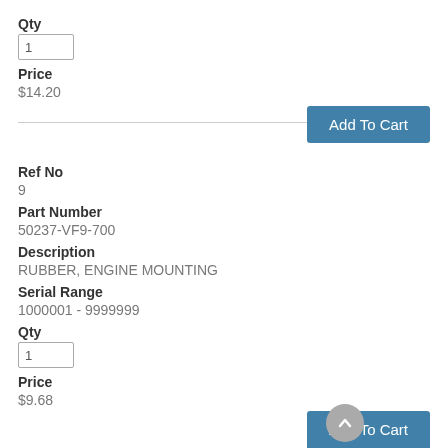Qty
1
Price
$14.20
Add To Cart
Ref No
9
Part Number
50237-VF9-700
Description
RUBBER, ENGINE MOUNTING
Serial Range
1000001 - 9999999
Qty
1
Price
$9.68
Add To Cart